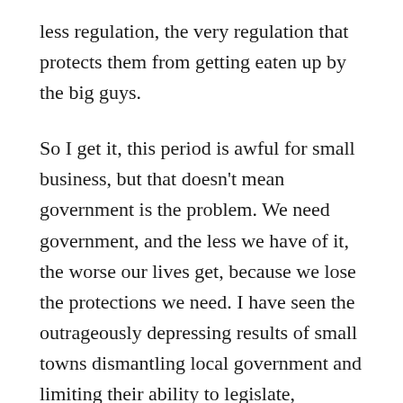less regulation, the very regulation that protects them from getting eaten up by the big guys.
So I get it, this period is awful for small business, but that doesn't mean government is the problem. We need government, and the less we have of it, the worse our lives get, because we lose the protections we need. I have seen the outrageously depressing results of small towns dismantling local government and limiting their ability to legislate, regulate and lead. Dollar General is just licking it's chops in the wings. Nothing good has come from this anti-government policy, unless you happen to hang out in the 1% and if you do, kudos to you, you are significantly richer today than ever.
For the rest of us, government is actually employed to